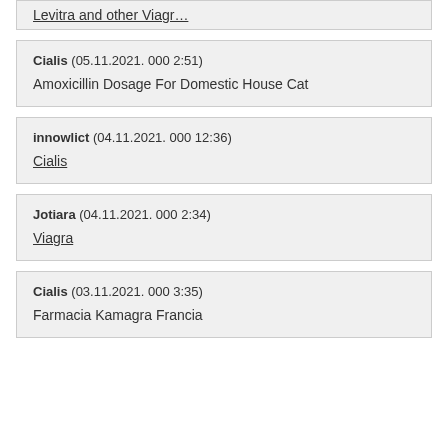[truncated top card with underlined link]
Cialis (05.11.2021. 000 2:51)
Amoxicillin Dosage For Domestic House Cat
innowlict (04.11.2021. 000 12:36)
Cialis
Jotiara (04.11.2021. 000 2:34)
Viagra
Cialis (03.11.2021. 000 3:35)
Farmacia Kamagra Francia